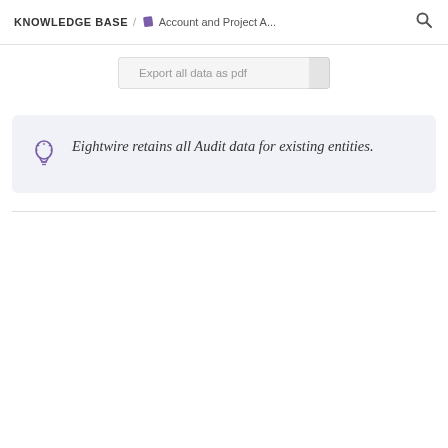KNOWLEDGE BASE / Account and Project A...
[Figure (screenshot): Export all data as pdf button UI element]
Eightwire retains all Audit data for existing entities.